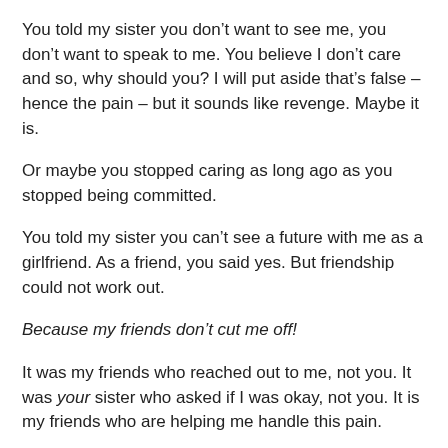You told my sister you don’t want to see me, you don’t want to speak to me. You believe I don’t care and so, why should you? I will put aside that’s false – hence the pain – but it sounds like revenge. Maybe it is.
Or maybe you stopped caring as long ago as you stopped being committed.
You told my sister you can’t see a future with me as a girlfriend. As a friend, you said yes. But friendship could not work out.
Because my friends don’t cut me off!
It was my friends who reached out to me, not you. It was your sister who asked if I was okay, not you. It is my friends who are helping me handle this pain.